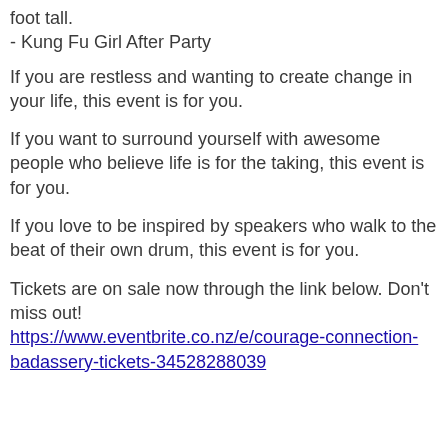foot tall.
- Kung Fu Girl After Party
If you are restless and wanting to create change in your life, this event is for you.
If you want to surround yourself with awesome people who believe life is for the taking, this event is for you.
If you love to be inspired by speakers who walk to the beat of their own drum, this event is for you.
Tickets are on sale now through the link below. Don't miss out!
https://www.eventbrite.co.nz/e/courage-connection-badassery-tickets-34528288039